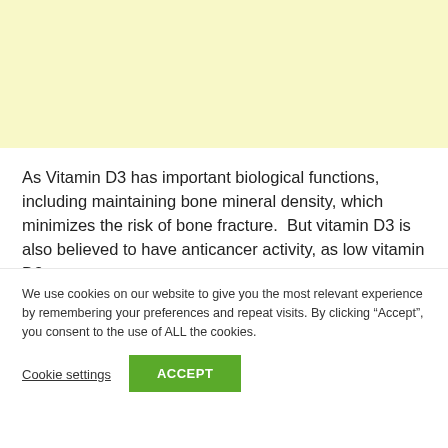[Figure (other): Yellow/cream colored banner area at top of page]
As Vitamin D3 has important biological functions, including maintaining bone mineral density, which minimizes the risk of bone fracture.  But vitamin D3 is also believed to have anticancer activity, as low vitamin D3
We use cookies on our website to give you the most relevant experience by remembering your preferences and repeat visits. By clicking “Accept”, you consent to the use of ALL the cookies.
Cookie settings   ACCEPT